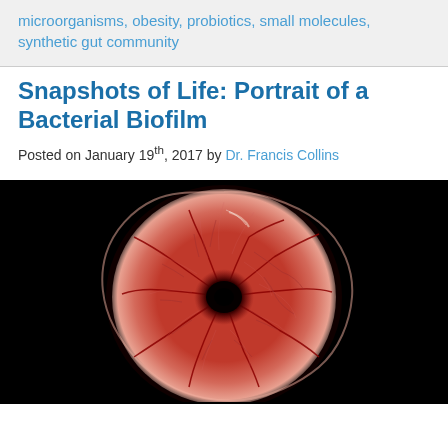microorganisms, obesity, probiotics, small molecules, synthetic gut community
Snapshots of Life: Portrait of a Bacterial Biofilm
Posted on January 19th, 2017 by Dr. Francis Collins
[Figure (photo): Microscopy image of a bacterial biofilm colony on a black background, showing a circular reddish-pink structure with intricate vein-like networks radiating from a dark center, resembling a flower or coral cross-section.]